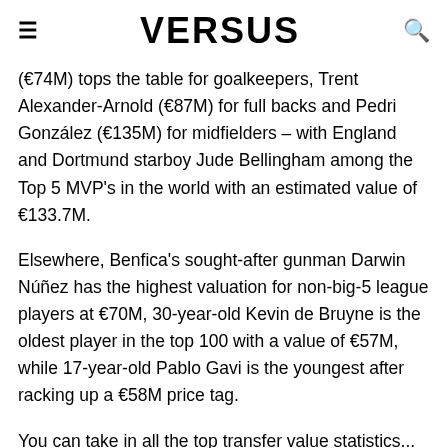≡  VERSUS  🔍
(€74M) tops the table for goalkeepers, Trent Alexander-Arnold (€87M) for full backs and Pedri González (€135M) for midfielders – with England and Dortmund starboy Jude Bellingham among the Top 5 MVP's in the world with an estimated value of €133.7M.
Elsewhere, Benfica's sought-after gunman Darwin Núñez has the highest valuation for non-big-5 league players at €70M, 30-year-old Kevin de Bruyne is the oldest player in the top 100 with a value of €57M, while 17-year-old Pablo Gavi is the youngest after racking up a €58M price tag.
You can take in all the top transfer value statistics...